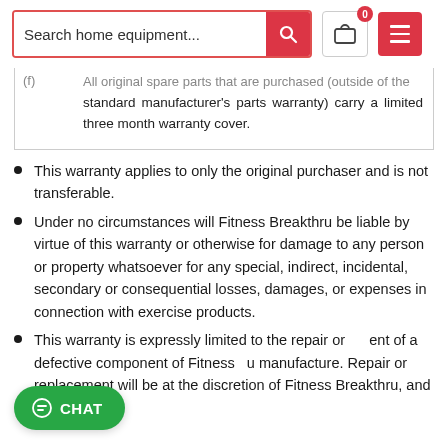Search home equipment... [search bar] [cart: 0] [menu]
| (f) | All original spare parts that are purchased (outside of the standard manufacturer's parts warranty) carry a limited three month warranty cover. |
This warranty applies to only the original purchaser and is not transferable.
Under no circumstances will Fitness Breakthru be liable by virtue of this warranty or otherwise for damage to any person or property whatsoever for any special, indirect, incidental, secondary or consequential losses, damages, or expenses in connection with exercise products.
This warranty is expressly limited to the repair or replacement of a defective component of Fitness Breakthru manufacture. Repair or replacement will be at the discretion of Fitness Breakthru, and is the